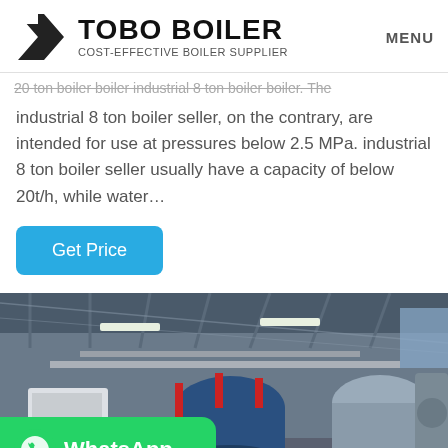TOBO BOILER — COST-EFFECTIVE BOILER SUPPLIER | MENU
20 ton boiler boiler industrial 8 ton boiler boiler. The industrial 8 ton boiler seller, on the contrary, are intended for use at pressures below 2.5 MPa. industrial 8 ton boiler seller usually have a capacity of below 20t/h, while water...
Get Price
[Figure (photo): Industrial boiler room interior with large cylindrical boilers, pipes, and industrial equipment inside a steel-framed building]
WhatsApp